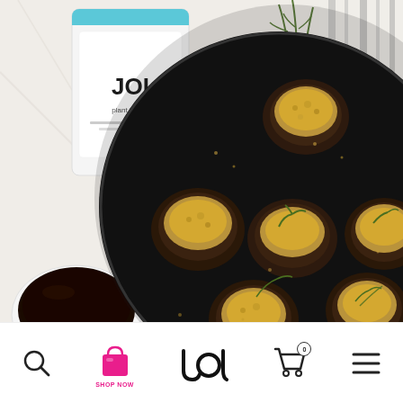[Figure (photo): Overhead photo of stuffed mushrooms topped with breadcrumbs and herbs in a black cast iron skillet, with a JOI branded container and a cup of dark liquid (coffee or soy sauce) visible in the upper left on a marble surface.]
[Figure (infographic): Mobile app bottom navigation bar with search icon, pink shopping bag icon labeled SHOP NOW, JOI brand logo, shopping cart icon with badge showing 0, and hamburger menu icon.]